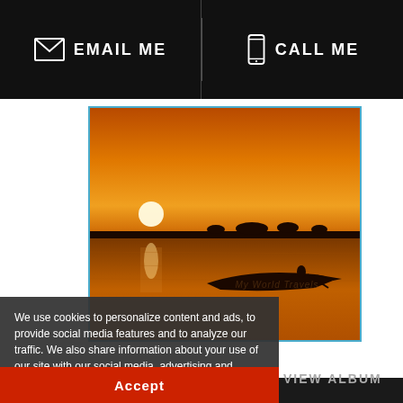EMAIL ME   CALL ME
[Figure (photo): Sunset over a river with a silhouetted boat and person rowing, orange sky with sun near horizon, dark treeline in distance]
My World Travels
We use cookies to personalize content and ads, to provide social media features and to analyze our traffic. We also share information about your use of our site with our social media, advertising and analytics partners. More Info.
Accept
VIEW ALBUM